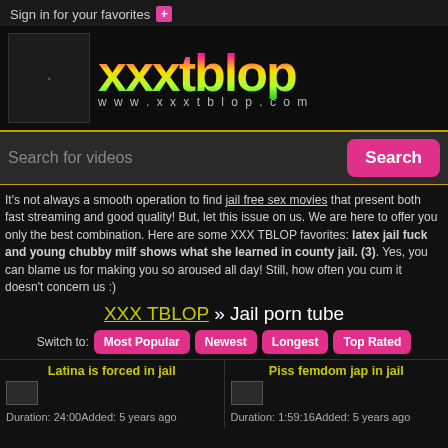Sign in for your favorites +
[Figure (logo): XXXTBLOP website logo with illustrated female figure and gradient text 'XXXTBLOP' with www.xxxtblop.com below]
Search for videos
Search
It's not always a smooth operation to find jail free sex movies that present both fast streaming and good quality! But, let this issue on us. We are here to offer you only the best combination. Here are some XXX TBLOP favorites: latex jail fuck and young chubby milf shows what she learned in county jail. (3). Yes, you can blame us for making you so aroused all day! Still, how often you cum it doesn't concern us :)
XXX TBLOP » Jail porn tube
Switch to: Most Popular  Newest  Longest  Top Rated
Latina is forced in jail
Duration: 24:00Added: 5 years ago
Piss femdom jap in jail
Duration: 1:59:16Added: 5 years ago